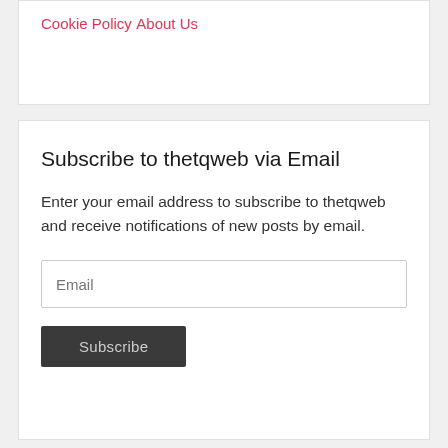Cookie Policy
About Us
Subscribe to thetqweb via Email
Enter your email address to subscribe to thetqweb and receive notifications of new posts by email.
Email
Subscribe